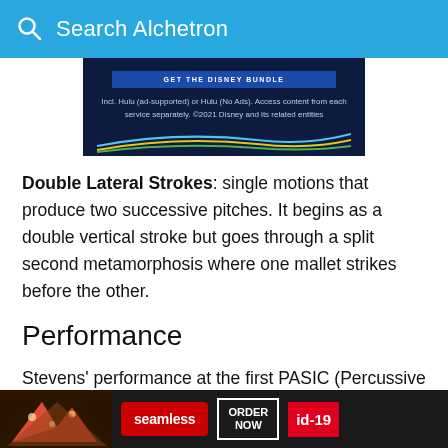Search Alchetron
[Figure (screenshot): Disney/Hulu advertisement banner showing colored lines on dark blue background with text: Incl. Hulu (ad-supported) or Hulu (No Ads). Access content from each service separately. ©2021 Disney and its related entities]
Double Lateral Strokes: single motions that produce two successive pitches. It begins as a double vertical stroke but goes through a split second metamorphosis where one mallet strikes before the other.
Performance
Stevens' performance at the first PASIC (Percussive Arts Society International Convention) in Ro... event... many
[Figure (screenshot): Seamless food delivery advertisement banner with pizza image, Seamless red logo button, ORDER NOW button, and id-19 red tag]